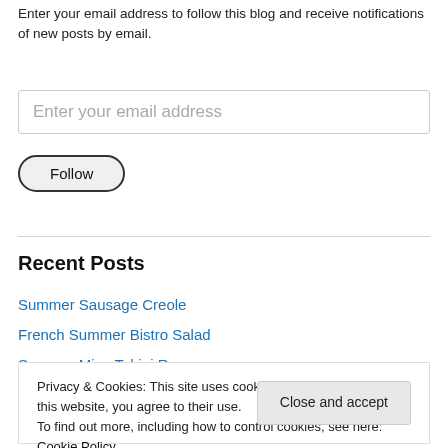Enter your email address to follow this blog and receive notifications of new posts by email.
Enter your email address
Follow
Recent Posts
Summer Sausage Creole
French Summer Bistro Salad
Summer Miso Tahini Ra…
Privacy & Cookies: This site uses cookies. By continuing to use this website, you agree to their use.
To find out more, including how to control cookies, see here: Cookie Policy
Close and accept